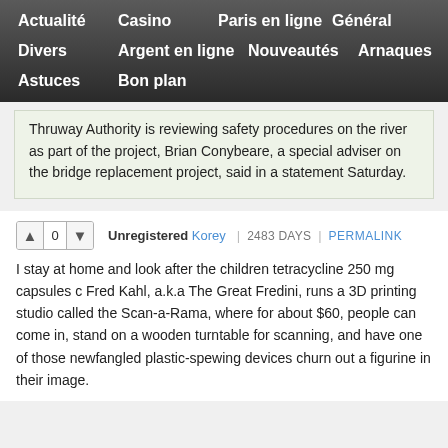Actualité | Casino | Paris en ligne | Général | Divers | Argent en ligne | Nouveautés | Arnaques | Astuces | Bon plan
Thruway Authority is reviewing safety procedures on the river as part of the project, Brian Conybeare, a special adviser on the bridge replacement project, said in a statement Saturday.
Unregistered Korey | 2483 DAYS | PERMALINK
I stay at home and look after the children tetracycline 250 mg capsules c Fred Kahl, a.k.a The Great Fredini, runs a 3D printing studio called the Scan-a-Rama, where for about $60, people can come in, stand on a wooden turntable for scanning, and have one of those newfangled plastic-spewing devices churn out a figurine in their image.